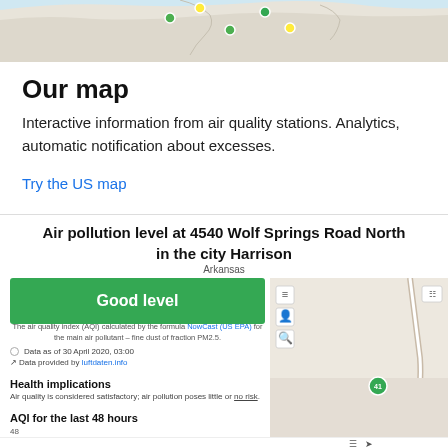[Figure (map): Partial view of a US map showing air quality station markers]
Our map
Interactive information from air quality stations. Analytics, automatic notification about excesses.
Try the US map
Air pollution level at 4540 Wolf Springs Road North in the city Harrison
Arkansas
Good level
The air quality index (AQI) calculated by the formula NowCast (US EPA) for the main air pollutant – fine dust of fraction PM2.5.
Data as of 30 April 2020, 03:00
Data provided by luftdaten.info
[Figure (map): Small map showing location marker for Harrison, Arkansas air quality station]
Health implications
Air quality is considered satisfactory; air pollution poses little or no risk.
AQI for the last 48 hours